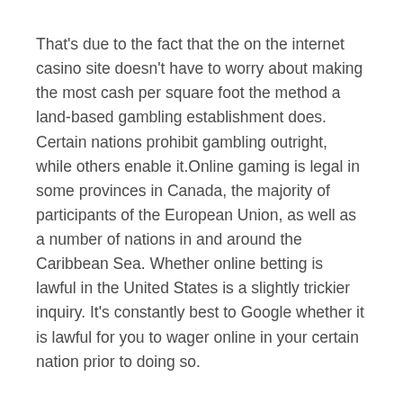That's due to the fact that the on the internet casino site doesn't have to worry about making the most cash per square foot the method a land-based gambling establishment does. Certain nations prohibit gambling outright, while others enable it.Online gaming is legal in some provinces in Canada, the majority of participants of the European Union, as well as a number of nations in and around the Caribbean Sea. Whether online betting is lawful in the United States is a slightly trickier inquiry. It's constantly best to Google whether it is lawful for you to wager online in your certain nation prior to doing so.
That means you ought to have access to over 300 ports and table gambling games using your computer system or mobile device. As well as actual cash video games, you must be able to use trial